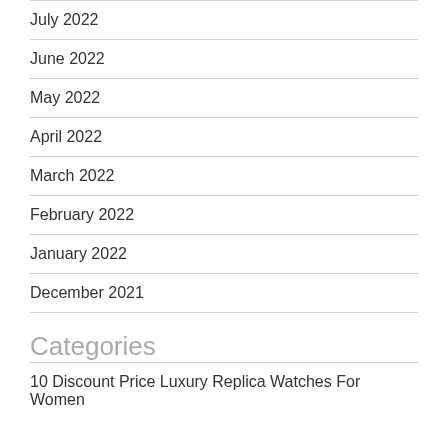July 2022
June 2022
May 2022
April 2022
March 2022
February 2022
January 2022
December 2021
Categories
10 Discount Price Luxury Replica Watches For Women